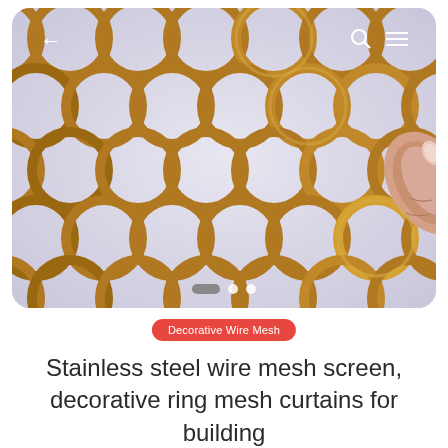[Figure (photo): Close-up photo of interlocking gold/brass decorative ring mesh curtain, with a human finger holding one of the rings. The rings are circular and interlinked in a grid pattern. Image shown inside a rounded rectangle with navigation icons (back arrow, search, menu) overlaid. Three carousel indicator dots visible at bottom of image.]
Decorative Wire Mesh
Stainless steel wire mesh screen, decorative ring mesh curtains for building